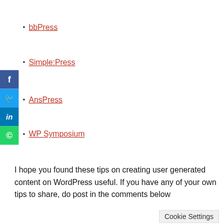bbPress
Simple:Press
AnsPress
WP Symposium
I hope you found these tips on creating user generated content on WordPress useful. If you have any of your own tips to share, do post in the comments below.